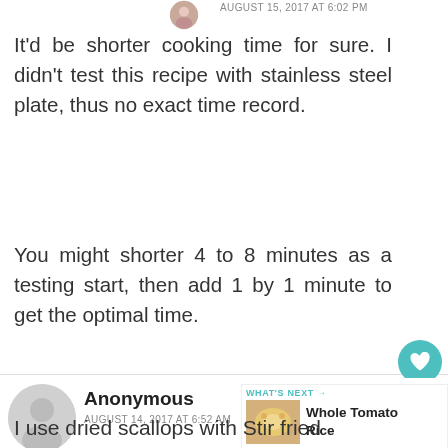AUGUST 15, 2017 AT 6:02 PM
It'd be shorter cooking time for sure. I didn't test this recipe with stainless steel plate, thus no exact time record.
You might shorter 4 to 8 minutes as a testing start, then add 1 by 1 minute to get the optimal time.
10
Anonymous
AUGUST 14, 2017 AT 6:52 AM
WHAT'S NEXT → Whole Tomato Rice
I use dried scallops with Stir fried